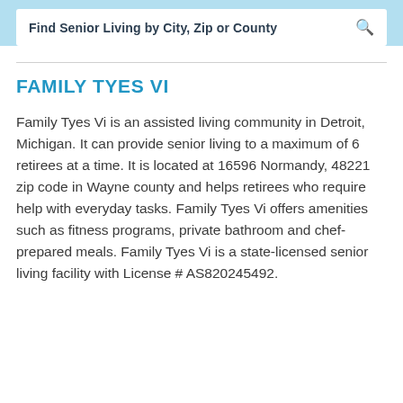Find Senior Living by City, Zip or County
FAMILY TYES VI
Family Tyes Vi is an assisted living community in Detroit, Michigan. It can provide senior living to a maximum of 6 retirees at a time. It is located at 16596 Normandy, 48221 zip code in Wayne county and helps retirees who require help with everyday tasks. Family Tyes Vi offers amenities such as fitness programs, private bathroom and chef-prepared meals. Family Tyes Vi is a state-licensed senior living facility with License # AS820245492.